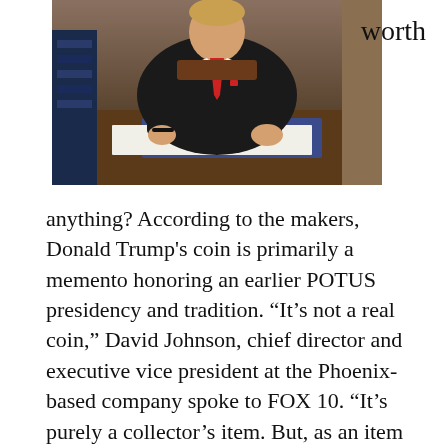[Figure (photo): Man in dark suit with red tie sitting at a desk signing documents]
worth
anything? According to the makers, Donald Trump's coin is primarily a memento honoring an earlier POTUS presidency and tradition. “It’s not a real coin,” David Johnson, chief director and executive vice president at the Phoenix-based company spoke to FOX 10. “It’s purely a collector’s item. But, as an item that is a collector’s item, its potential value for the future is higher. We are awestruck by the idea of buying them as gifts for MAGA-